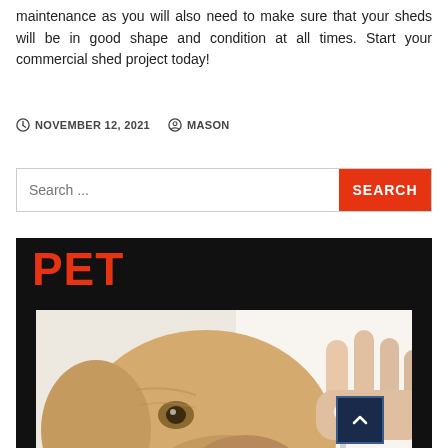maintenance as you will also need to make sure that your sheds will be in good shape and condition at all times. Start your commercial shed project today!
NOVEMBER 12, 2021   MASON
Search ...
PET
[Figure (photo): Close-up photo of a Labrador dog being cleaned around the mouth area with a cotton swab by a person's hand, against a white background.]